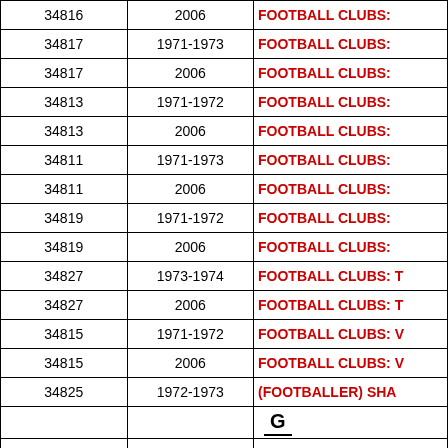| ID | Year | Description |
| --- | --- | --- |
| 34816 | 2006 | FOOTBALL CLUBS: |
| 34817 | 1971-1973 | FOOTBALL CLUBS: |
| 34817 | 2006 | FOOTBALL CLUBS: |
| 34813 | 1971-1972 | FOOTBALL CLUBS: |
| 34813 | 2006 | FOOTBALL CLUBS: |
| 34811 | 1971-1973 | FOOTBALL CLUBS: |
| 34811 | 2006 | FOOTBALL CLUBS: |
| 34819 | 1971-1972 | FOOTBALL CLUBS: |
| 34819 | 2006 | FOOTBALL CLUBS: |
| 34827 | 1973-1974 | FOOTBALL CLUBS: T |
| 34827 | 2006 | FOOTBALL CLUBS: T |
| 34815 | 1971-1972 | FOOTBALL CLUBS: V |
| 34815 | 2006 | FOOTBALL CLUBS: V |
| 34825 | 1972-1973 | (FOOTBALLER) SHA |
|  |  | G |
| 34755 | 1982-1983 | GERMAN ARMOURE |
| 34723 | 1978 | GERMAN MOTORCY |
| 34809 | 1970-1972 | GO-KART (Sportsman) |